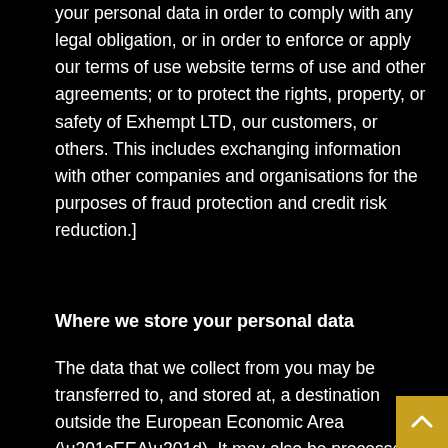your personal data in order to comply with any legal obligation, or in order to enforce or apply our terms of use website terms of use and other agreements; or to protect the rights, property, or safety of Exhempt LTD, our customers, or others. This includes exchanging information with other companies and organisations for the purposes of fraud protection and credit risk reduction.]
Where we store your personal data
The data that we collect from you may be transferred to, and stored at, a destination outside the European Economic Area (“EEA”). It may also be processed by staff operating outside the EEA who work for one of our